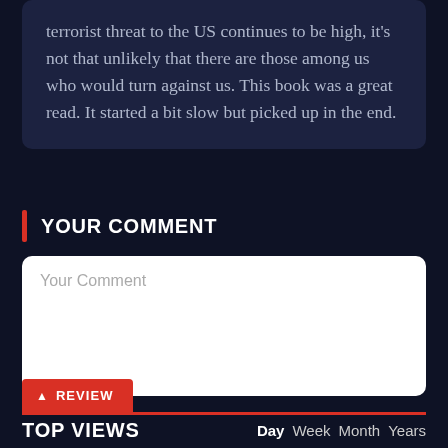terrorist threat to the US continues to be high, it's not that unlikely that there are those among us who would turn against us. This book was a great read. It started a bit slow but picked up in the end.
YOUR COMMENT
Your Comment
TOP VIEWS
Day Week Month Years